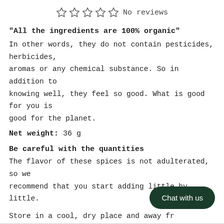[Figure (other): Five empty star rating icons followed by 'No reviews' text]
"All the ingredients are 100% organic"
In other words, they do not contain pesticides, herbicides, aromas or any chemical substance. So in addition to knowing well, they feel so good. What is good for you is good for the planet.
Net weight: 36 g
Be careful with the quantities
The flavor of these spices is not adulterated, so we recommend that you start adding little by little.
Store in a cool, dry place and away fr